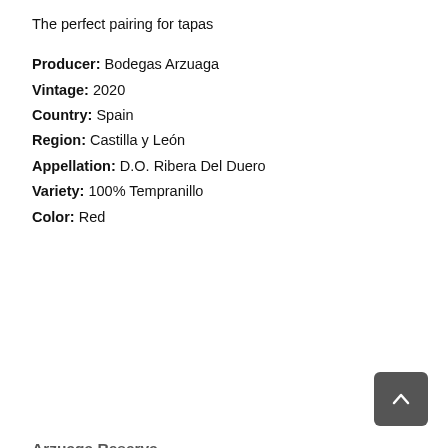The perfect pairing for tapas
Producer: Bodegas Arzuaga
Vintage: 2020
Country: Spain
Region: Castilla y León
Appellation: D.O. Ribera Del Duero
Variety: 100% Tempranillo
Color: Red
Arzuaga Reserva
The Essence of Ribera
Producer: Bodegas Arzuaga
Vintage: 2018
Country: Spain
Region: Castilla y León